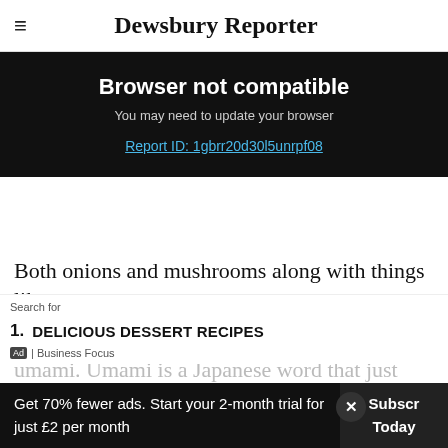Dewsbury Reporter
Browser not compatible
You may need to update your browser
Report ID: 1gbrr20d30l5unrpf08
Both onions and mushrooms along with things like g... ed as umami. Umami is a Japanese word that just
Search for
1. DELICIOUS DESSERT RECIPES
Ad | Business Focus
Get 70% fewer ads. Start your 2-month trial for just £2 per month
Subscr Today